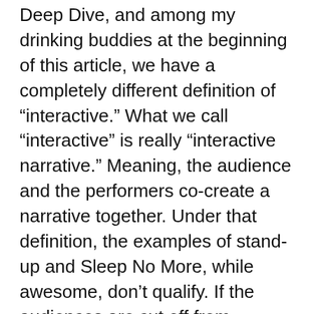Deep Dive, and among my drinking buddies at the beginning of this article, we have a completely different definition of “interactive.” What we call “interactive” is really “interactive narrative.” Meaning, the audience and the performers co-create a narrative together. Under that definition, the examples of stand-up and Sleep No More, while awesome, don’t qualify. If the audiences are cut off from impacting the story, it’s not our version of “interactive.”
So stand-up and Sleep No More are interactive, but they aren’t “interactive.” While we are at it, smartphones and Playstations are interactive,